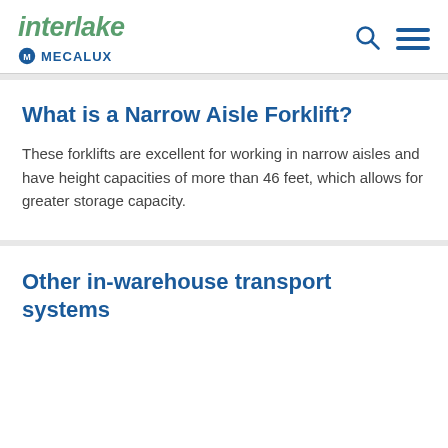Interlake MECALUX
What is a Narrow Aisle Forklift?
These forklifts are excellent for working in narrow aisles and have height capacities of more than 46 feet, which allows for greater storage capacity.
Other in-warehouse transport systems